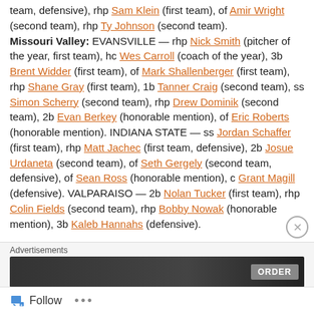team, defensive), rhp Sam Klein (first team), of Amir Wright (second team), rhp Ty Johnson (second team). Missouri Valley: EVANSVILLE — rhp Nick Smith (pitcher of the year, first team), hc Wes Carroll (coach of the year), 3b Brent Widder (first team), of Mark Shallenberger (first team), rhp Shane Gray (first team), 1b Tanner Craig (second team), ss Simon Scherry (second team), rhp Drew Dominik (second team), 2b Evan Berkey (honorable mention), of Eric Roberts (honorable mention). INDIANA STATE — ss Jordan Schaffer (first team), rhp Matt Jachec (first team, defensive), 2b Josue Urdaneta (second team), of Seth Gergely (second team, defensive), of Sean Ross (honorable mention), c Grant Magill (defensive). VALPARAISO — 2b Nolan Tucker (first team), rhp Colin Fields (second team), rhp Bobby Nowak (honorable mention), 3b Kaleb Hannahs (defensive).
Advertisements
[Figure (other): Advertisement banner image with ORDER button]
Follow ...